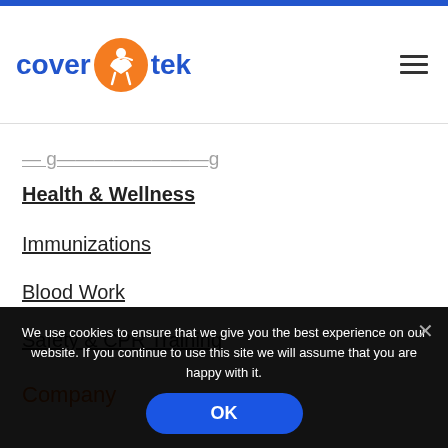cover tek
Health & Wellness
Immunizations
Blood Work
Safety & CPR Training
Company
We use cookies to ensure that we give you the best experience on our website. If you continue to use this site we will assume that you are happy with it.